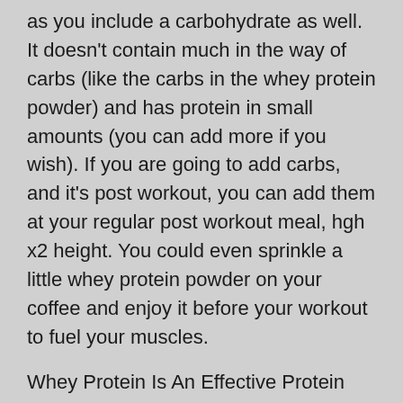as you include a carbohydrate as well. It doesn't contain much in the way of carbs (like the carbs in the whey protein powder) and has protein in small amounts (you can add more if you wish). If you are going to add carbs, and it's post workout, you can add them at your regular post workout meal, hgh x2 height. You could even sprinkle a little whey protein powder on your coffee and enjoy it before your workout to fuel your muscles.
Whey Protein Is An Effective Protein Blend
I've read some very good reviews on whey protein powder and people have been extremely impressed by the quality and effectiveness of this protein blend. This seems to be a great protein to add to your post-workout menu, or when working out, hgh x2 results. You should add this to your